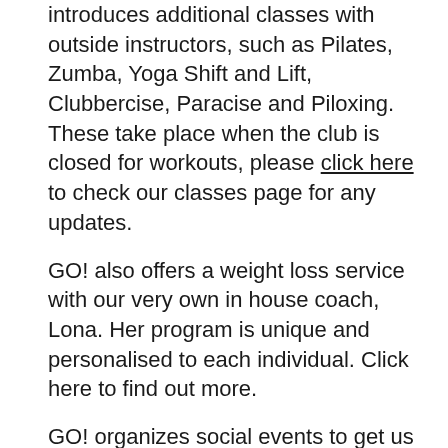introduces additional classes with outside instructors, such as Pilates, Zumba, Yoga Shift and Lift, Clubbercise, Paracise and Piloxing.  These take place when the club is closed for workouts, please click here to check our classes page for any updates.
GO! also offers a weight loss service with our very own in house coach, Lona. Her program is unique and personalised to each individual. Click here to find out more.
GO! organizes social events to get us all outside too! Walks, jogs, fundraising events, Christmas and summer parties.
GO! also provides workshops on wellness mindset & life challenges.
GO! provides personal coaching for whatever